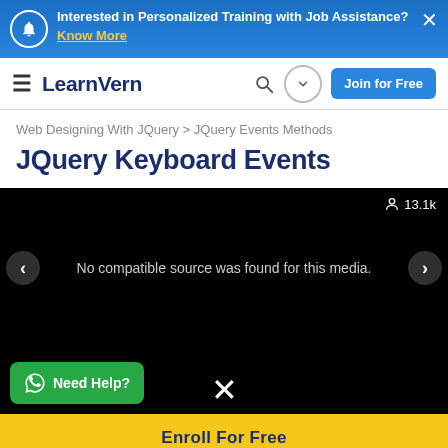Interested in Personalized Training with Job Assistance? Know More
LearnVern — Join for Free
Web Designing With JQuery > JQuery Events Methods
JQuery Keyboard Events
[Figure (screenshot): Video player area with black background showing 'No compatible source was found for this media.' message, viewer count 13.1k, previous/next navigation arrows, WhatsApp Need Help button, and a close X button.]
Enroll For Free